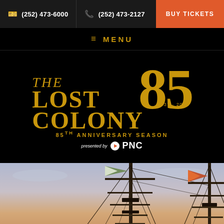(252) 473-6000  (252) 473-2127  BUY TICKETS
≡ MENU
[Figure (logo): The Lost Colony 85th Anniversary Season logo with large gold '85' numeral, gold serif text 'THE LOST COLONY', dates '1937-2022', text '85TH ANNIVERSARY SEASON', presented by PNC logo]
[Figure (photo): Ship masts with two flags against a dusk sky - one green/white flag and one orange/red flag, with rigging visible]